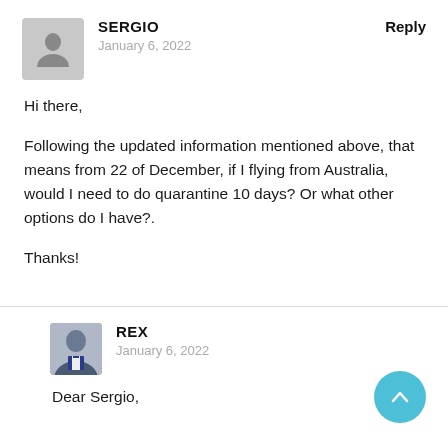[Figure (illustration): Gray placeholder avatar icon for user Sergio]
SERGIO
January 6, 2022
Reply
Hi there,
Following the updated information mentioned above, that means from 22 of December, if I flying from Australia, would I need to do quarantine 10 days? Or what other options do I have?.
Thanks!
[Figure (photo): Photo avatar of user Rex, man in blue suit]
REX
January 6, 2022
Dear Sergio,